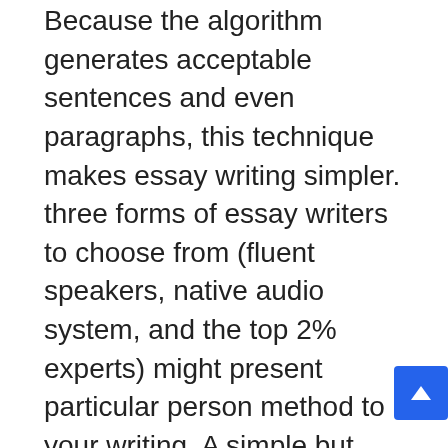Because the algorithm generates acceptable sentences and even paragraphs, this technique makes essay writing simpler. three forms of essay writers to choose from (fluent speakers, native audio system, and the top 2% experts) might present particular person method to your writing. A simple but effective loyalty program permits you to save significantly on all future assignments. But sooner than you begin using them in tutorial essays, be very positive you perceive what they indicate within the context of your essay.
Writers want at least three hours to complete a brief essay. If you need help with a extra complicated, lengthy paper, contact us beforehand. Your writing assistant may have extra time for evaluation and will produce a superb piece. On top of that, there are professional who'll gladly work on your legislation case examine, nursing report, or history presentation.